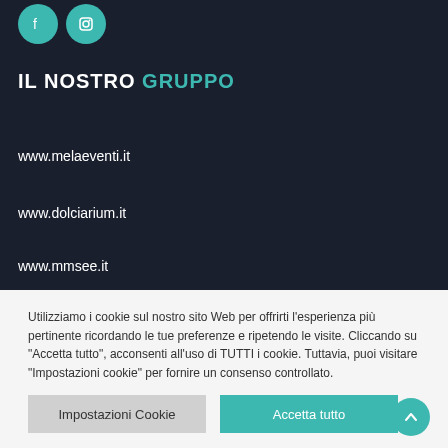[Figure (logo): Two teal circular social media icons (Facebook and Instagram) in top-left corner]
IL NOSTRO GRUPPO
www.melaeventi.it
www.dolciarium.it
www.mmsee.it
Utilizziamo i cookie sul nostro sito Web per offrirti l'esperienza più pertinente ricordando le tue preferenze e ripetendo le visite. Cliccando su "Accetta tutto", acconsenti all'uso di TUTTI i cookie. Tuttavia, puoi visitare "Impostazioni cookie" per fornire un consenso controllato.
Impostazioni Cookie
Accetta tutto